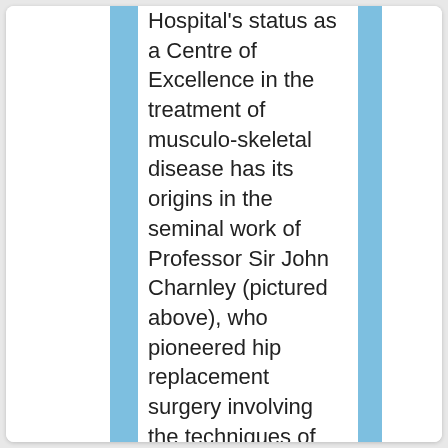Hospital's status as a Centre of Excellence in the treatment of musculo-skeletal disease has its origins in the seminal work of Professor Sir John Charnley (pictured above), who pioneered hip replacement surgery involving the techniques of low-friction arthroplasty and also innovative advances to